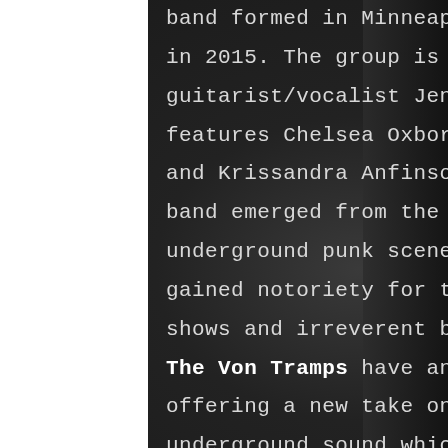band formed in Minneapolis, Minnesota, in 2015. The group is fronted by guitarist/vocalist Jenna Enemy and features Chelsea Oxborough on guitar and Krissandra Anfinson on bass. The band emerged from the Minneapolis underground punk scene and first gained notoriety for their high-energy live shows and irreverent behavior. The Von Tramps have an eclectic style offering a new take on the Minneapolis underground sound which combines sludgy Ramones-esk punk tunes with cheeky lyrics and introduces a new wave